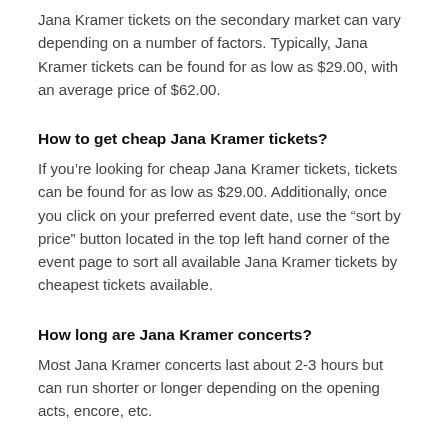Jana Kramer tickets on the secondary market can vary depending on a number of factors. Typically, Jana Kramer tickets can be found for as low as $29.00, with an average price of $62.00.
How to get cheap Jana Kramer tickets?
If you're looking for cheap Jana Kramer tickets, tickets can be found for as low as $29.00. Additionally, once you click on your preferred event date, use the “sort by price” button located in the top left hand corner of the event page to sort all available Jana Kramer tickets by cheapest tickets available.
How long are Jana Kramer concerts?
Most Jana Kramer concerts last about 2-3 hours but can run shorter or longer depending on the opening acts, encore, etc.